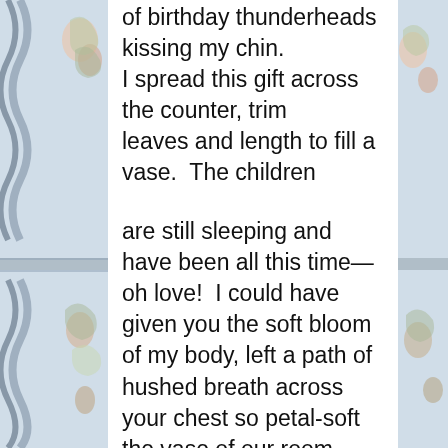of birthday thunderheads kissing my chin.
I spread this gift across the counter, trim
leaves and length to fill a vase.  The children

are still sleeping and have been all this time—
oh love!  I could have given you the soft bloom
of my body, left a path of hushed breath across
your chest so petal-soft the vase of our room